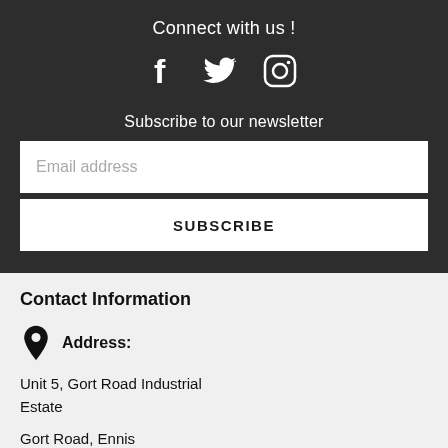Connect with us !
[Figure (illustration): Social media icons: Facebook (f), Twitter (bird), Instagram (camera outline)]
Subscribe to our newsletter
Email address
SUBSCRIBE
Contact Information
Address:
Unit 5, Gort Road Industrial Estate
Gort Road, Ennis